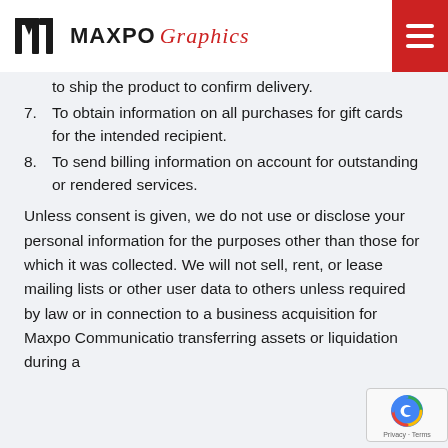MAXPO Graphics
to ship the product to confirm delivery.
7. To obtain information on all purchases for gift cards for the intended recipient.
8. To send billing information on account for outstanding or rendered services.
Unless consent is given, we do not use or disclose your personal information for the purposes other than those for which it was collected. We will not sell, rent, or lease mailing lists or other user data to others unless required by law or in connection to a business acquisition for Maxpo Communications transferring assets or liquidation during a